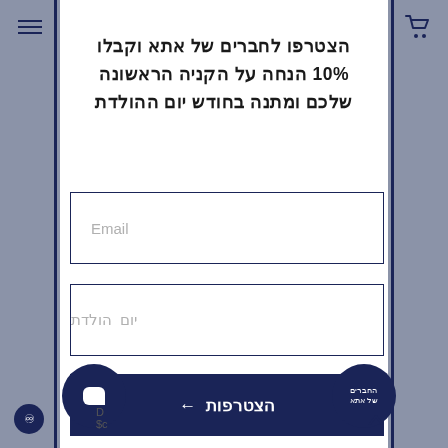הצטרפו לחברים של אתא וקבלו 10% הנחה על הקניה הראשונה שלכם ומתנה בחודש יום ההולדת
Email
יום הולדת
הצטרפות ←